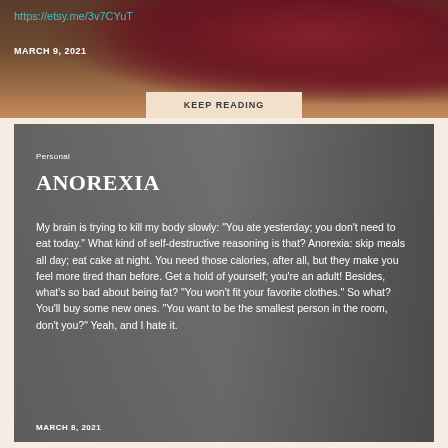[Figure (photo): Top banner image with dark red roses on a wooden surface background with overlay]
https://etsy.me/3v7CYuT
MARCH 9, 2021
KEEP READING
[Figure (photo): Young woman with long hair drinking from a glass, photo serving as background for the Anorexia blog post card]
Personal
ANOREXIA
My brain is trying to kill my body slowly: "You ate yesterday; you don't need to eat today." What kind of self-destructive reasoning is that? Anorexia: skip meals all day; eat cake at night. You need those calories, after all, but they make you feel more tired than before. Get a hold of yourself; you're an adult! Besides, what's so bad about being fat? "You won't fit your favorite clothes." So what? You'll buy some new ones. "You want to be the smallest person in the room, don't you?" Yeah, and I hate it.
MARCH 8, 2021